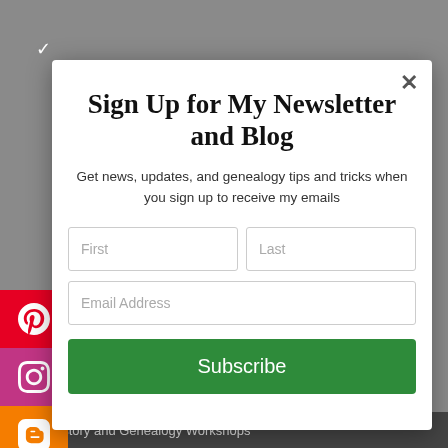Sign Up for My Newsletter and Blog
Get news, updates, and genealogy tips and tricks when you sign up to receive my emails
[Figure (screenshot): Newsletter signup modal with First/Last name fields, Email Address field, and a green Subscribe button. Social media sidebar on left with Pinterest, Instagram, Blogger, Facebook, Twitter icons.]
Family History and Genealogy Workshops